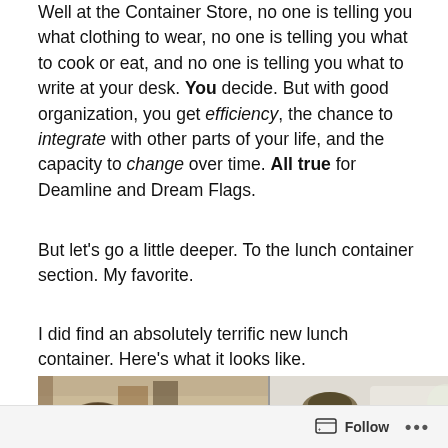Well at the Container Store, no one is telling you what clothing to wear, no one is telling you what to cook or eat, and no one is telling you what to write at your desk. You decide. But with good organization, you get efficiency, the chance to integrate with other parts of your life, and the capacity to change over time. All true for Deamline and Dream Flags.
But let's go a little deeper. To the lunch container section. My favorite.
I did find an absolutely terrific new lunch container. Here's what it looks like.
[Figure (photo): Two side-by-side photos showing food items on a stovetop/surface, appearing to be lunch containers with food]
Follow ···